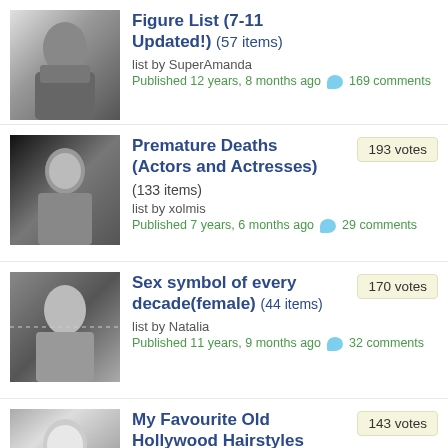Figure List (7-11 Updated!) (57 items) list by SuperAmanda Published 12 years, 8 months ago 169 comments
Premature Deaths (Actors and Actresses) (133 items) list by xolmis Published 7 years, 6 months ago 29 comments — 193 votes
Sex symbol of every decade(female) (44 items) list by Natalia Published 11 years, 9 months ago 32 comments — 170 votes
My Favourite Old Hollywood Hairstyles (519 items) list by Blue Pineapple — 143 votes